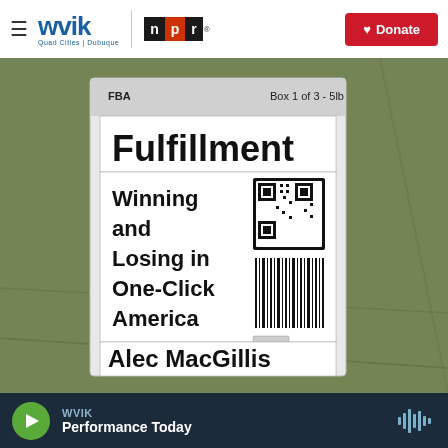WVIK | Quad Cities | Dubuque — NPR — Donate
[Figure (photo): Book cover label for 'Fulfillment: Winning and Losing in One-Click America' by Alec MacGillis, shown as an Amazon FBA shipping label (Box 1 of 3 - 5lb) with barcode, placed on a green background (aerial field view).]
WVIK — Performance Today